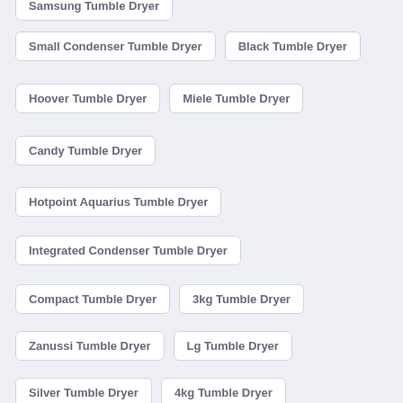Samsung Tumble Dryer
Small Condenser Tumble Dryer
Black Tumble Dryer
Hoover Tumble Dryer
Miele Tumble Dryer
Candy Tumble Dryer
Hotpoint Aquarius Tumble Dryer
Integrated Condenser Tumble Dryer
Compact Tumble Dryer
3kg Tumble Dryer
Zanussi Tumble Dryer
Lg Tumble Dryer
Silver Tumble Dryer
4kg Tumble Dryer
Aeg Tumble Dryer
Cheap Condenser Tumble Dryer